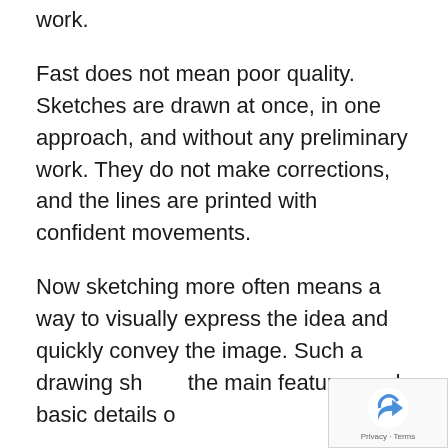and describe the elements of the future work.
Fast does not mean poor quality. Sketches are drawn at once, in one approach, and without any preliminary work. They do not make corrections, and the lines are printed with confident movements.
Now sketching more often means a way to visually express the idea and quickly convey the image. Such a drawing shows the main features and basic details of...